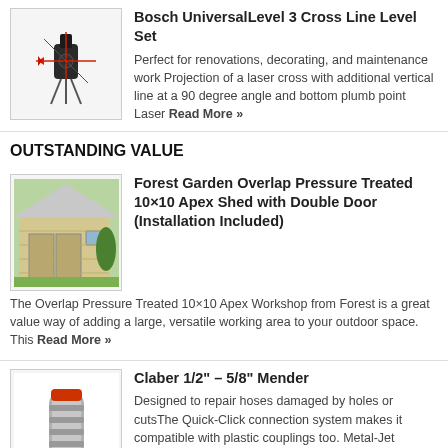[Figure (photo): Bosch laser level device on tripod stand]
Bosch UniversalLevel 3 Cross Line Level Set
Perfect for renovations, decorating, and maintenance work Projection of a laser cross with additional vertical line at a 90 degree angle and bottom plumb point Laser Read More »
OUTSTANDING VALUE
[Figure (photo): Forest Garden wooden shed with double door]
Forest Garden Overlap Pressure Treated 10×10 Apex Shed with Double Door (Installation Included)
The Overlap Pressure Treated 10×10 Apex Workshop from Forest is a great value way of adding a large, versatile working area to your outdoor space. This Read More »
[Figure (photo): Claber hose mender fitting]
Claber 1/2" – 5/8" Mender
Designed to repair hoses damaged by holes or cutsThe Quick-Click connection system makes it compatible with plastic couplings too. Metal-Jet connectors also feature 6 internal bearings Read More »
[Figure (photo): Claber Ergogrip fitting orange]
Claber Ergogrip 1/2 inch – 5/8 inch-3/4 inch Universal